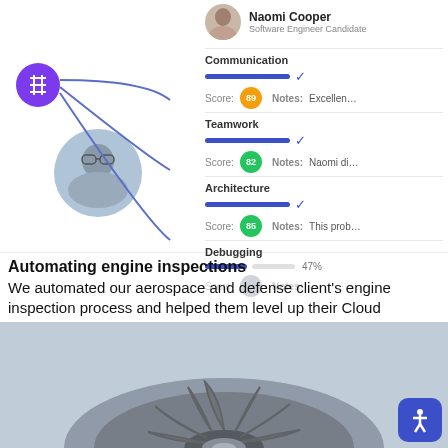[Figure (screenshot): Software engineer candidate evaluation interface showing Naomi Cooper's scores for Communication (89), Teamwork (82), Architecture (85), and Debugging (47%) with progress bars and notes, alongside a user photo and purple icon with connector lines]
Automating engine inspections
We automated our aerospace and defense client's engine inspection process and helped them level up their Cloud capabilities. Read More
[Figure (photo): Close-up photograph of an aircraft jet engine turbine fan from the front, showing fan blades in a circular pattern]